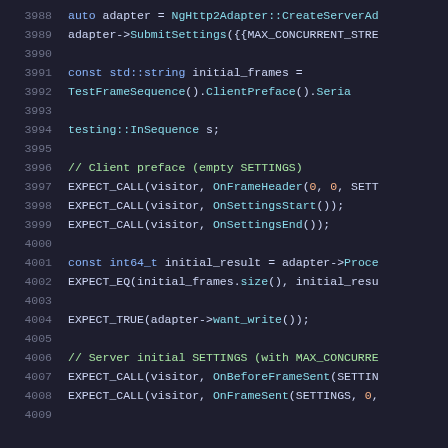[Figure (screenshot): Source code viewer showing C++ code lines 3988-4008, dark theme with syntax highlighting. Line numbers in gray on left, code with colored tokens on right.]